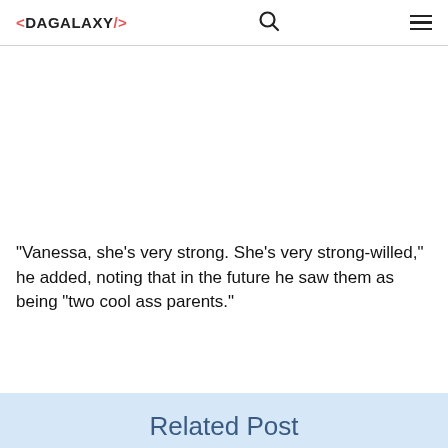<DAGALAXY/>
"Vanessa, she's very strong. She's very strong-willed," he added, noting that in the future he saw them as being "two cool ass parents."
Related Post